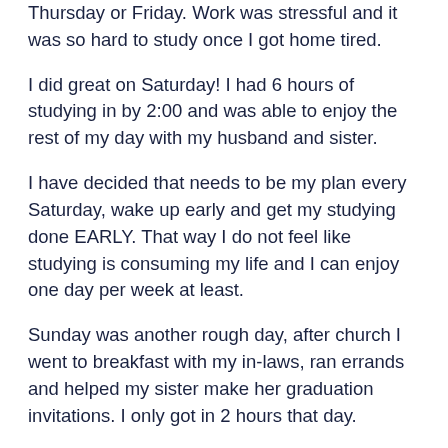Thursday or Friday. Work was stressful and it was so hard to study once I got home tired.
I did great on Saturday! I had 6 hours of studying in by 2:00 and was able to enjoy the rest of my day with my husband and sister.
I have decided that needs to be my plan every Saturday, wake up early and get my studying done EARLY. That way I do not feel like studying is consuming my life and I can enjoy one day per week at least.
Sunday was another rough day, after church I went to breakfast with my in-laws, ran errands and helped my sister make her graduation invitations. I only got in 2 hours that day.
All in all, I got in 13 hours of studying last week—yes I am aware, not nearly enough. I have vowed, no more weeks like that!!!
At this point in my studying I am going through the